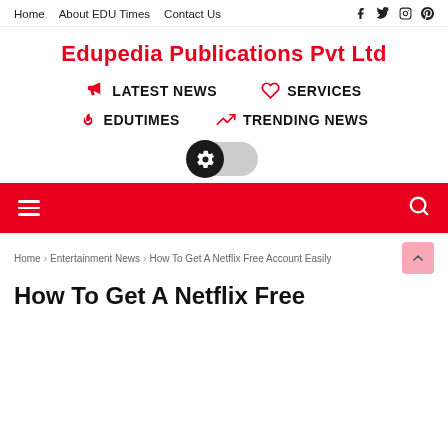Home | About EDU Times | Contact Us | [social icons: facebook, twitter, instagram, pinterest]
Edupedia Publications Pvt Ltd
LATEST NEWS
SERVICES
EDUTIMES
TRENDING NEWS
[Figure (infographic): Toggle/switch UI element with gear icon, dark thumb on left, grey track]
[Figure (infographic): Red navigation bar with hamburger menu icon on left and search icon on right]
Home > Entertainment News > How To Get A Netflix Free Account Easily
How To Get A Netflix Free